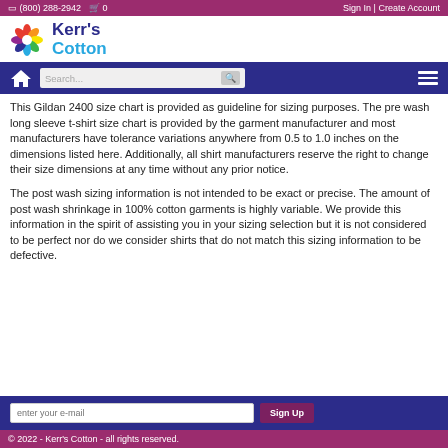(800) 288-2942   0   Sign In | Create Account
[Figure (logo): Kerr's Cotton logo with colorful flower and blue/cyan text]
[Figure (screenshot): Navigation bar with home icon, search box, and hamburger menu]
This Gildan 2400 size chart is provided as guideline for sizing purposes. The pre wash long sleeve t-shirt size chart is provided by the garment manufacturer and most manufacturers have tolerance variations anywhere from 0.5 to 1.0 inches on the dimensions listed here. Additionally, all shirt manufacturers reserve the right to change their size dimensions at any time without any prior notice.
The post wash sizing information is not intended to be exact or precise. The amount of post wash shrinkage in 100% cotton garments is highly variable. We provide this information in the spirit of assisting you in your sizing selection but it is not considered to be perfect nor do we consider shirts that do not match this sizing information to be defective.
enter your e-mail   Sign Up
© 2022 - Kerr's Cotton - all rights reserved.